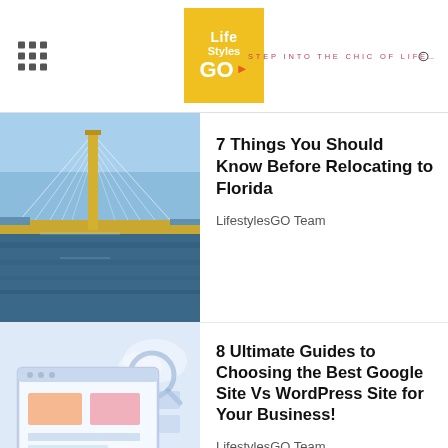Life Styles GO — STEP INTO THE CHIC OF LIFE...
[Figure (photo): Aerial view of a cable-stayed bridge over water with yellow tower structure]
7 Things You Should Know Before Relocating to Florida
LifestylesGO Team
[Figure (illustration): Light blue illustration of a computer screen with web design elements, cloud, magnifying glass, and hand pointer]
8 Ultimate Guides to Choosing the Best Google Site Vs WordPress Site for Your Business!
LifestylesGO Team